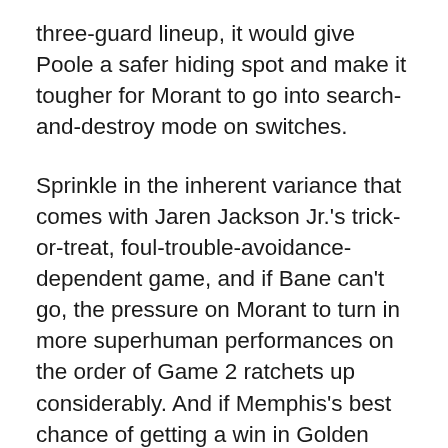three-guard lineup, it would give Poole a safer hiding spot and make it tougher for Morant to go into search-and-destroy mode on switches.
Sprinkle in the inherent variance that comes with Jaren Jackson Jr.'s trick-or-treat, foul-trouble-avoidance-dependent game, and if Bane can't go, the pressure on Morant to turn in more superhuman performances on the order of Game 2 ratchets up considerably. And if Memphis's best chance of getting a win in Golden State is Ja going into the phone booth and coming out wearing a cape, then it might make sense for Kerr to grit his teeth, push pause on his principles for a minute or two, and just simplify things: Put the ball in the hands of